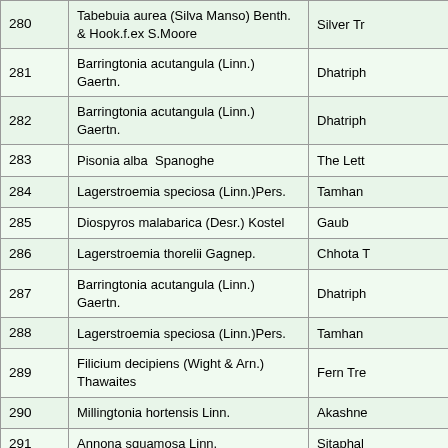| No. | Scientific Name | Common Name |
| --- | --- | --- |
| 280 | Tabebuia aurea (Silva Manso) Benth. & Hook.f.ex S.Moore | Silver Tr… |
| 281 | Barringtonia acutangula (Linn.) Gaertn. | Dhatriph… |
| 282 | Barringtonia acutangula (Linn.) Gaertn. | Dhatriph… |
| 283 | Pisonia alba  Spanoghe | The Lett… |
| 284 | Lagerstroemia speciosa (Linn.)Pers. | Tamhan… |
| 285 | Diospyros malabarica (Desr.) Kostel | Gaub |
| 286 | Lagerstroemia thorelii Gagnep. | Chhota T… |
| 287 | Barringtonia acutangula (Linn.) Gaertn. | Dhatriph… |
| 288 | Lagerstroemia speciosa (Linn.)Pers. | Tamhan… |
| 289 | Filicium decipiens (Wight & Arn.) Thawaites | Fern Tre… |
| 290 | Millingtonia hortensis Linn. | Akashne… |
| 291 | Annona squamosa Linn. | Sitaphal |
| 292 | Putranjiva roxburghii Wall. | Putranjiv… |
| 293 | Ficus religiosa Linn. | Pimpal |
| 294 | … | … |